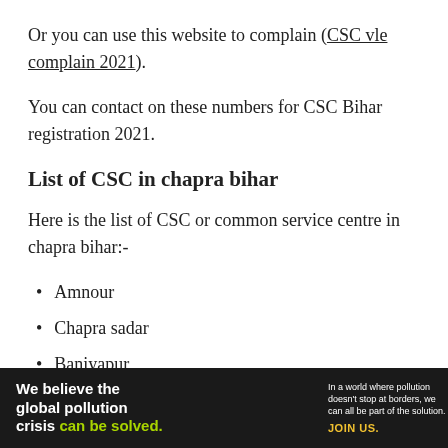Or you can use this website to complain (CSC vle complain 2021).
You can contact on these numbers for CSC Bihar registration 2021.
List of CSC in chapra bihar
Here is the list of CSC or common service centre in chapra bihar:-
Amnour
Chapra sadar
Baniyapur
[Figure (infographic): Advertisement banner for Pure Earth: 'We believe the global pollution crisis can be solved.' with text about pollution not stopping at borders and a call to join.]